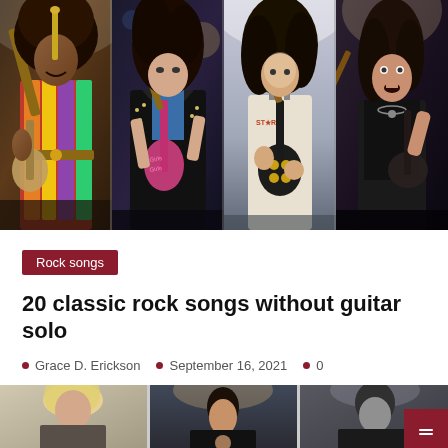[Figure (photo): Four-panel hero image showing classic rock guitarists performing on stage: Jimi Hendrix (left), guitarist with pink guitar labeled Girls Girls, Kirk Hammett or similar player with black guitar, and Angus Young or similar guitarist (right)]
Rock songs
20 classic rock songs without guitar solo
Grace D. Erickson   September 16, 2021   0
[Figure (photo): Three thumbnails at bottom showing more rock musicians/guitarists]